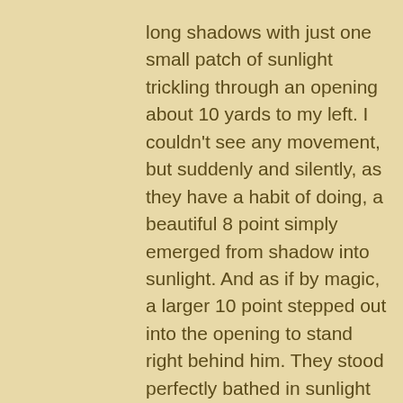long shadows with just one small patch of sunlight trickling through an opening about 10 yards to my left. I couldn't see any movement, but suddenly and silently, as they have a habit of doing, a beautiful 8 point simply emerged from shadow into sunlight. And as if by magic, a larger 10 point stepped out into the opening to stand right behind him. They stood perfectly bathed in sunlight and obviously didn't see me or hear me or smell me. But since they survive in the woods for a living, they felt me. Or felt something anyway.
They stood motionless for a long five minutes. Only their eyes and ears moved, searching the woods for a sight or sound that would confirm what they felt. It was